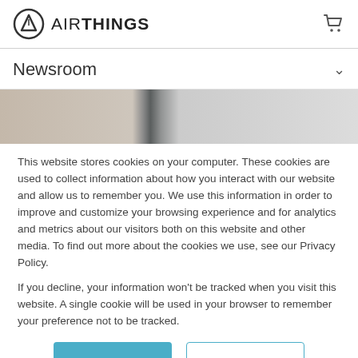AIRTHINGS
Newsroom
[Figure (photo): Partial hero image showing a beige/grey room interior with a device]
This website stores cookies on your computer. These cookies are used to collect information about how you interact with our website and allow us to remember you. We use this information in order to improve and customize your browsing experience and for analytics and metrics about our visitors both on this website and other media. To find out more about the cookies we use, see our Privacy Policy.
If you decline, your information won't be tracked when you visit this website. A single cookie will be used in your browser to remember your preference not to be tracked.
Accept
Decline